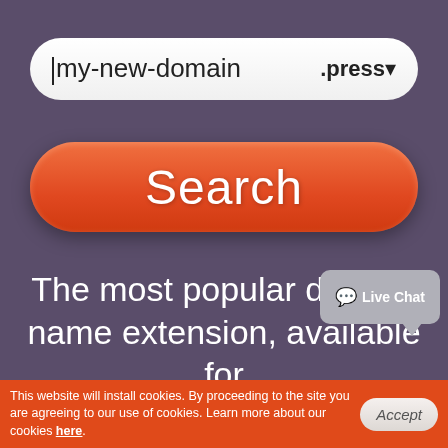[Figure (screenshot): Domain name search interface screenshot showing a search input box with 'my-new-domain' text and '.press' extension dropdown, an orange Search button, and tagline text 'The most popular domain name extension, available for']
The most popular domain name extension, available for
[Figure (other): Live Chat speech bubble widget in grey]
This website will install cookies. By proceeding to the site you are agreeing to our use of cookies. Learn more about our cookies here.